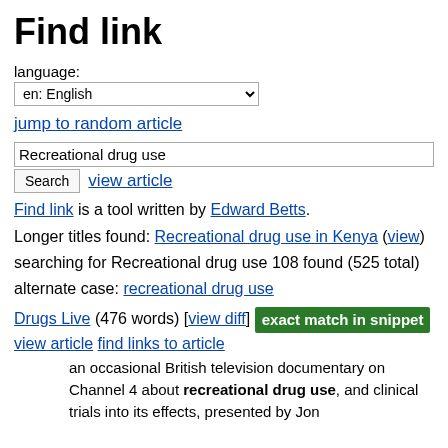Find link
language:
en: English
jump to random article
Recreational drug use
Search   view article
Find link is a tool written by Edward Betts.
Longer titles found: Recreational drug use in Kenya (view)
searching for Recreational drug use 108 found (525 total)
alternate case: recreational drug use
Drugs Live (476 words) [view diff] exact match in snippet
view article find links to article
an occasional British television documentary on Channel 4 about recreational drug use, and clinical trials into its effects, presented by Jon